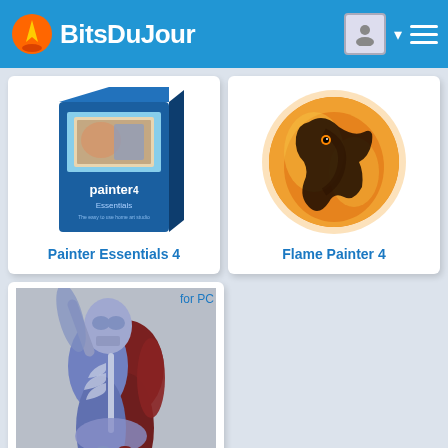Bits Du Jour
[Figure (screenshot): Painter Essentials 4 product box artwork - blue box with software screenshot]
Painter Essentials 4
[Figure (illustration): Flame Painter 4 logo - orange/gold circular dragon flame design]
Flame Painter 4
[Figure (illustration): 3D Virtual Human Anatomy Studio - 3D render of human skeleton and muscle anatomy model]
for PC
3D Virtual Human Anatomy Studio